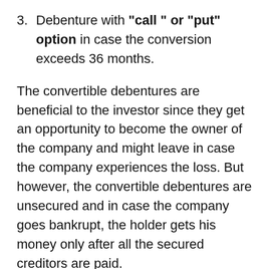3. Debenture with "call" or "put" option in case the conversion exceeds 36 months.
The convertible debentures are beneficial to the investor since they get an opportunity to become the owner of the company and might leave in case the company experiences the loss. But however, the convertible debentures are unsecured and in case the company goes bankrupt, the holder gets his money only after all the secured creditors are paid.
The major disadvantage to the issuer is that, if the company makes huge profits, then the investor would like to become the shareholder or the owner which results in the dilution of